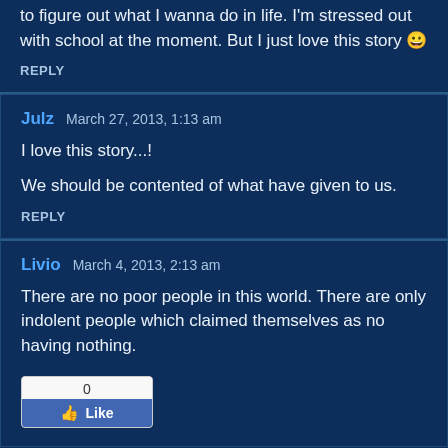to figure out what I wanna do in life. I'm stressed out with school at the moment. But I just love this story 😀
REPLY
Julz  March 27, 2013, 1:13 am
I love this story...!
We should be contented of what have given to us.
REPLY
Livio  March 4, 2013, 2:13 am
There are no poor people in this world. There are only indolent people which claimed themselves as no having nothing.
[Figure (other): Facebook Like button widget showing 0 likes]